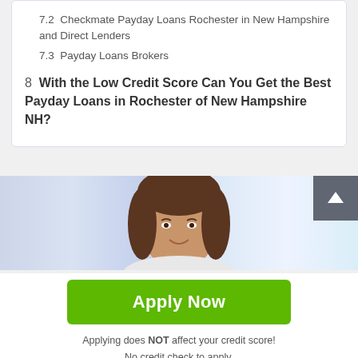7.2  Checkmate Payday Loans Rochester in New Hampshire and Direct Lenders
7.3  Payday Loans Brokers
8  With the Low Credit Score Can You Get the Best Payday Loans in Rochester of New Hampshire NH?
[Figure (photo): Banner image of a smiling young woman with a scroll-to-top button overlay]
Apply Now
Applying does NOT affect your credit score!
No credit check to apply.